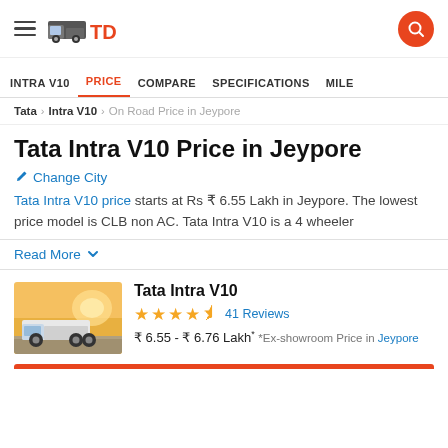TrucksDekho - Navigation header with hamburger menu, truck logo, and search button
INTRA V10 | PRICE | COMPARE | SPECIFICATIONS | MILE
Tata > Intra V10 > On Road Price in Jeypore
Tata Intra V10 Price in Jeypore
Change City
Tata Intra V10 price starts at Rs ₹ 6.55 Lakh in Jeypore. The lowest price model is CLB non AC. Tata Intra V10 is a 4 wheeler
Read More ∨
Tata Intra V10
★★★★☆ 41 Reviews
₹ 6.55 - ₹ 6.76 Lakh* *Ex-showroom Price in Jeypore